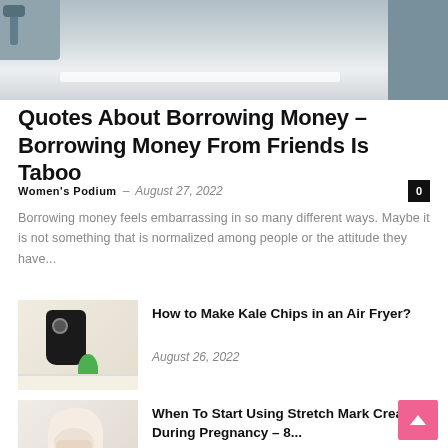[Figure (photo): Top banner image of a room interior, partially visible, with light blue/grey tones and a white horizontal bar]
Quotes About Borrowing Money – Borrowing Money From Friends Is Taboo
Women's Podium – August 27, 2022
Borrowing money feels embarrassing in so many different ways. Maybe it is not something that is normalized among people or the attitude they have...
[Figure (photo): Thumbnail of an air fryer with herbs and a red checkered cloth on a kitchen counter]
How to Make Kale Chips in an Air Fryer?
August 26, 2022
[Figure (photo): Thumbnail of a pregnant woman sitting cross-legged, touching her belly]
When To Start Using Stretch Mark Cream During Pregnancy – 8...
August 25, 2022
[Figure (photo): Thumbnail partially visible showing flowers and a hat, related to breakup cure article]
12 Breakup Cure: How To Be Happy After...